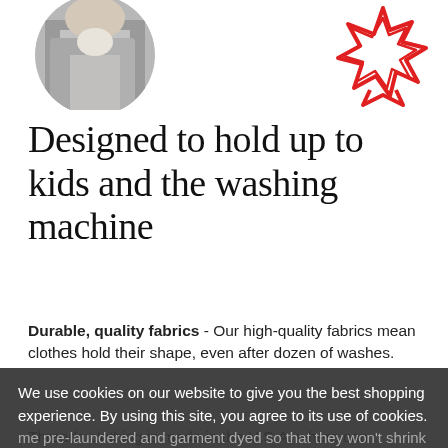[Figure (photo): Partial view of a child wearing grey clothing, cropped in a circle shape at the top left]
[Figure (illustration): Red award/ribbon badge outline icon on the top right]
Designed to hold up to kids and the washing machine
Durable, quality fabrics - Our high-quality fabrics mean clothes hold their shape, even after dozen of washes.
We use cookies on our website to give you the best shopping experience. By using this site, you agree to its use of cookies. me pre-laundered and garment dyed so that they won't shrink or fade for you.
I agree
Threads clothing is made in the U.S.A. where can